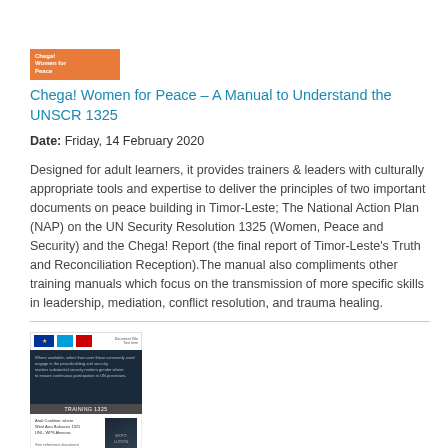[Figure (photo): Thumbnail image of Chega! Women for Peace manual cover with orange stripe and text overlay]
Chega! Women for Peace – A Manual to Understand the UNSCR 1325
Date: Friday, 14 February 2020
Designed for adult learners, it provides trainers & leaders with culturally appropriate tools and expertise to deliver the principles of two important documents on peace building in Timor-Leste; The National Action Plan (NAP) on the UN Security Resolution 1325 (Women, Peace and Security) and the Chega! Report (the final report of Timor-Leste's Truth and Reconciliation Reception).The manual also compliments other training manuals which focus on the transmission of more specific skills in leadership, mediation, conflict resolution, and trauma healing.
[Figure (screenshot): Thumbnail of a second document or webpage with EU and UN logos, dark banner image, and lower section with text and image]